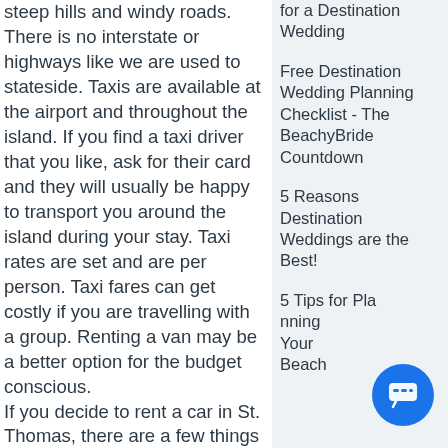steep hills and windy roads. There is no interstate or highways like we are used to stateside. Taxis are available at the airport and throughout the island. If you find a taxi driver that you like, ask for their card and they will usually be happy to transport you around the island during your stay. Taxi rates are set and are per person. Taxi fares can get costly if you are travelling with a group. Renting a van may be a better option for the budget conscious.
If you decide to rent a car in St. Thomas, there are a few things you should be aware of. Although a US Territory, they do drive on the left side of the road. It takes some getting used
for a Destination Wedding
Free Destination Wedding Planning Checklist - The BeachyBride Countdown
5 Reasons Destination Weddings are the Best!
5 Tips for Planning Your Beach